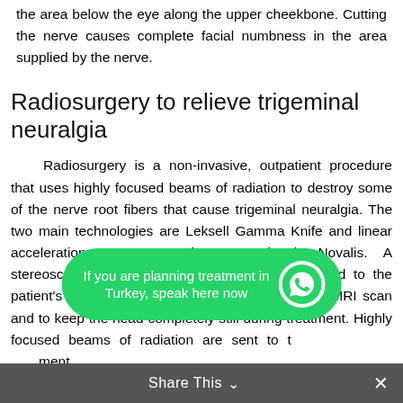the area below the eye along the upper cheekbone. Cutting the nerve causes complete facial numbness in the area supplied by the nerve.
Radiosurgery to relieve trigeminal neuralgia
Radiosurgery is a non-invasive, outpatient procedure that uses highly focused beams of radiation to destroy some of the nerve root fibers that cause trigeminal neuralgia. The two main technologies are Leksell Gamma Knife and linear acceleration systems such as BrainLab Novalis. A stereoscopic head frame or face mask is attached to the patient's head to precisely locate the nerve in an MRI scan and to keep the head completely still during treatment. Highly focused beams of radiation are sent to the weeks after treatment radiation occurred.
[Figure (other): WhatsApp chat button overlay: 'If you are planning treatment in Turkey, speak here now' with WhatsApp icon on green rounded background]
Pain relief may not occur immediately, but rather gradually
Share This ∨  ✕